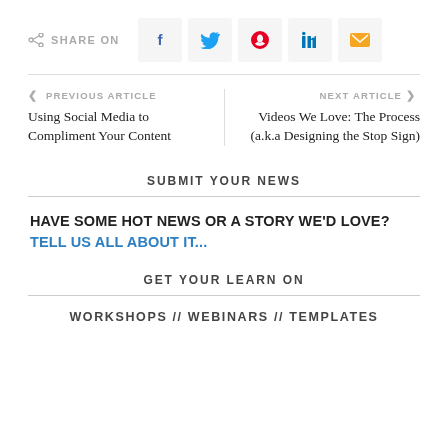SHARE ON
PREVIOUS ARTICLE
Using Social Media to Compliment Your Content
NEXT ARTICLE
Videos We Love: The Process (a.k.a Designing the Stop Sign)
SUBMIT YOUR NEWS
HAVE SOME HOT NEWS OR A STORY WE'D LOVE? TELL US ALL ABOUT IT...
GET YOUR LEARN ON
WORKSHOPS // WEBINARS // TEMPLATES